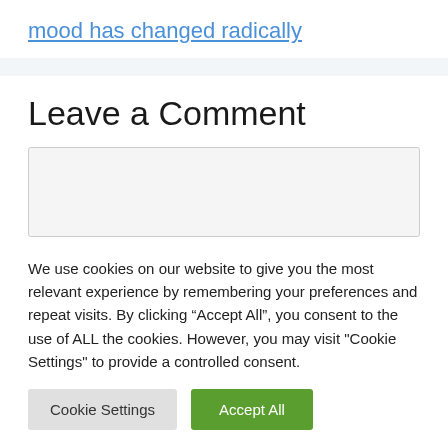mood has changed radically
Leave a Comment
We use cookies on our website to give you the most relevant experience by remembering your preferences and repeat visits. By clicking “Accept All”, you consent to the use of ALL the cookies. However, you may visit "Cookie Settings" to provide a controlled consent.
Cookie Settings | Accept All